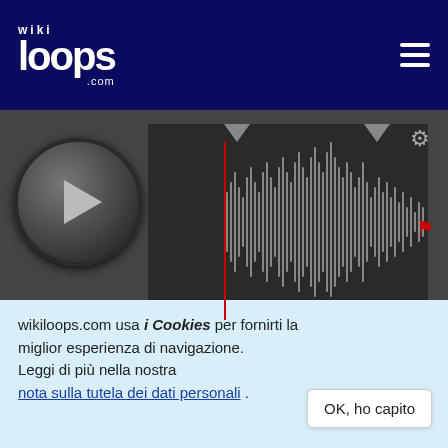[Figure (screenshot): wikiloops.com logo in white on dark navy header with hamburger menu icon]
[Figure (screenshot): Audio player with play button, waveform display, timeline markers, gear icon, red flag, volume toggle, time display showing 00:00, 140 BPM, 02:24, and PUB badge]
[Figure (screenshot): Thumbnail with red play triangle and +0 text]
+0
5 anni fa
Liesching
wikiloops.com usa i Cookies per fornirti la miglior esperienza di navigazione.
Leggi di più nella nostra nota sulla tutela dei dati personali .
OK, ho capito